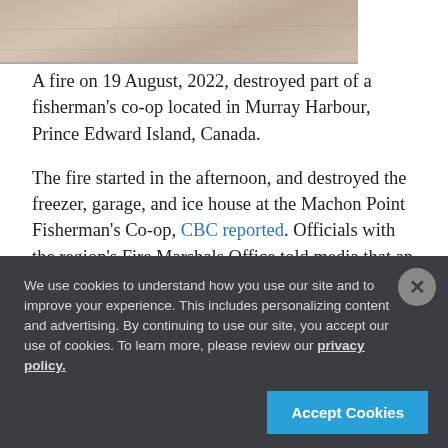[Figure (photo): Partial photo showing a tiled or paved surface, cropped at the top of the page]
A fire on 19 August, 2022, destroyed part of a fisherman's co-op located in Murray Harbour, Prince Edward Island, Canada.
The fire started in the afternoon, and destroyed the freezer, garage, and ice house at the Machon Point Fisherman's Co-op, CBC reported. Officials with the region's Fire Marshals Office told media that an investigation into the cause of the fire will take more time.
According to the CBC, the destroyed
...
We use cookies to understand how you use our site and to improve your experience. This includes personalizing content and advertising. By continuing to use our site, you accept our use of cookies. To learn more, please review our privacy policy.